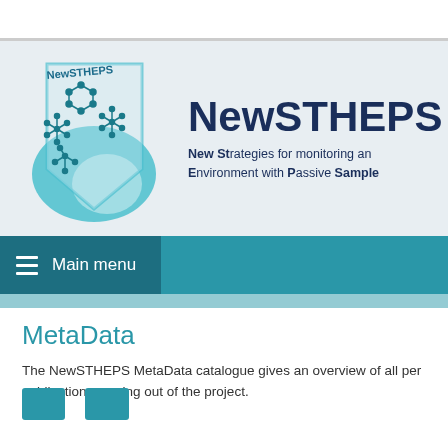[Figure (logo): NewSTHEPS project logo — a flask/tag shape with molecular structure diagrams and a globe, in teal and blue tones]
NewSTHEPS
New Strategies for monitoring an Environment with Passive Sample
Main menu
MetaData
The NewSTHEPS MetaData catalogue gives an overview of all per publications coming out of the project.